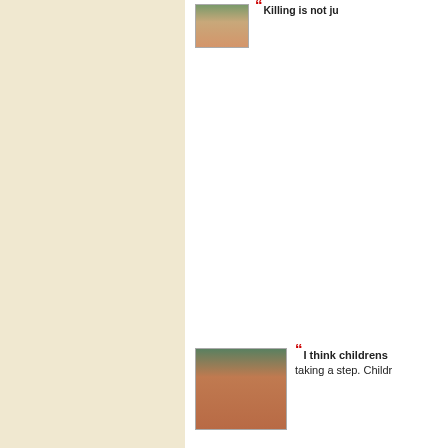[Figure (photo): Portrait photo of a person (partially cropped) at top right, with a red open-quote mark and partial text 'Killing is not ju...']
“Killing is not ju...
[Figure (photo): Portrait photo of a woman (Indian appearance, dark curly hair, bindi) at middle-bottom right]
“I think childrens... taking a step. Childr...